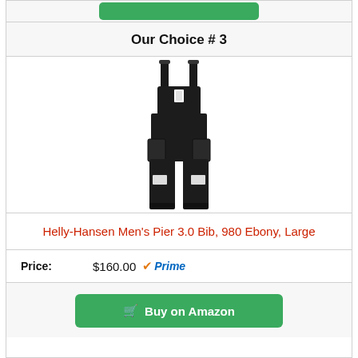[Figure (other): Green button at top (partial, cropped)]
Our Choice # 3
[Figure (photo): Black bib overalls / sailing trousers (Helly-Hansen Men's Pier 3.0 Bib) on white background]
Helly-Hansen Men's Pier 3.0 Bib, 980 Ebony, Large
Price: $160.00 Prime
Buy on Amazon